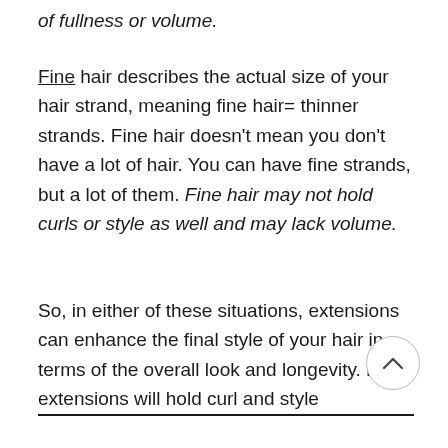of fullness or volume.
Fine hair describes the actual size of your hair strand, meaning fine hair= thinner strands. Fine hair doesn't mean you don't have a lot of hair. You can have fine strands, but a lot of them. Fine hair may not hold curls or style as well and may lack volume.
So, in either of these situations, extensions can enhance the final style of your hair in terms of the overall look and longevity. Hair extensions will hold curl and style